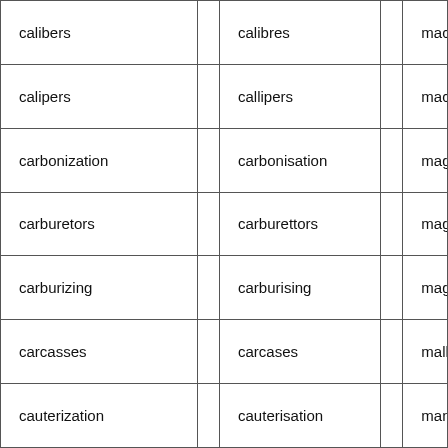| calibers |  | calibres |  | macada… |
| calipers |  | callipers |  | machet… |
| carbonization |  | carbonisation |  | magnet… |
| carburetors |  | carburettors |  | magnet… |
| carburizing |  | carburising |  | magnet… |
| carcasses |  | carcases |  | malleab… |
| cauterization |  | cauterisation |  | maneув… |